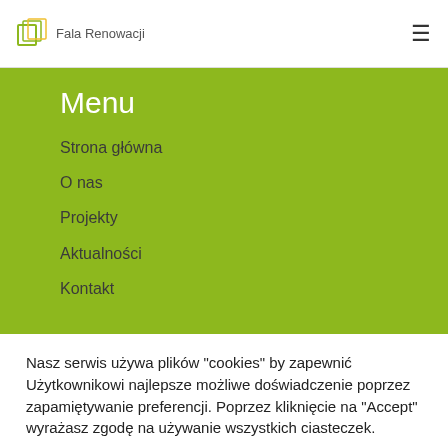Fala Renowacji
Menu
Strona główna
O nas
Projekty
Aktualności
Kontakt
Nasz serwis używa plików "cookies" by zapewnić Użytkownikowi najlepsze możliwe doświadczenie poprzez zapamiętywanie preferencji. Poprzez kliknięcie na "Accept" wyrażasz zgodę na używanie wszystkich ciasteczek.
Ustawienia
Zaakceptuj